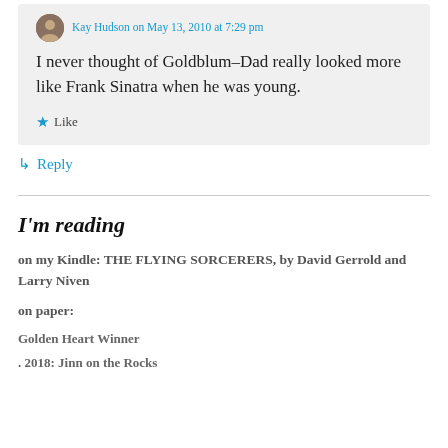Kay Hudson on May 13, 2010 at 7:29 pm
I never thought of Goldblum–Dad really looked more like Frank Sinatra when he was young.
★ Like
↳ Reply
I'm reading
on my Kindle: THE FLYING SORCERERS, by David Gerrold and Larry Niven
on paper:
Golden Heart Winner
. 2018: Jinn on the Rocks